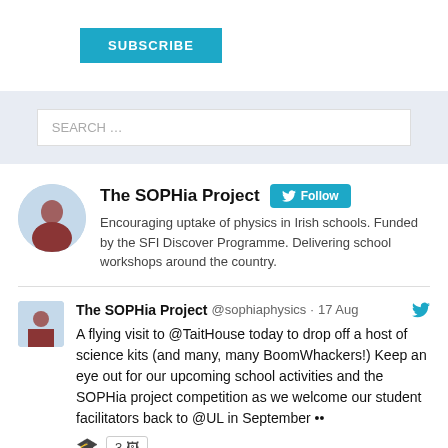[Figure (other): Subscribe button in cyan/teal color]
[Figure (screenshot): Search bar input with placeholder text SEARCH...]
[Figure (other): The SOPHia Project Twitter profile widget with avatar, name, Follow button, and bio text]
[Figure (other): Tweet from The SOPHia Project @sophiaphysics dated 17 Aug about a flying visit to @TaitHouse with science kits and BoomWhackers, with emoji and 3 media indicator]